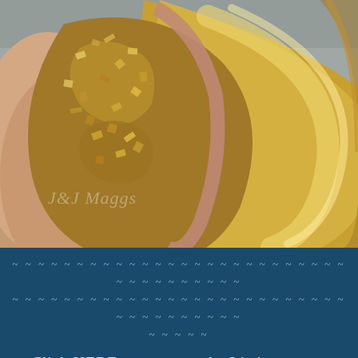[Figure (photo): Close-up photograph of gold and silver metallic bangles/bracelets with ornate textured filigree detail, held in a hand. Watermark text 'J&J Maggs' visible in lower left of image.]
~ ~ ~ ~ ~ ~ ~ ~ ~ ~ ~ ~ ~ ~ ~ ~ ~ ~ ~ ~ ~ ~ ~ ~ ~ ~ ~ ~ ~ ~ ~ ~ ~ ~ ~ ~
~ ~ ~ ~ ~ ~ ~ ~ ~ ~ ~ ~ ~ ~ ~ ~ ~ ~ ~ ~ ~ ~ ~ ~ ~ ~ ~ ~ ~ ~ ~ ~ ~ ~ ~ ~
~ ~ ~ ~ ~
Click HERE to return to the Listings page.